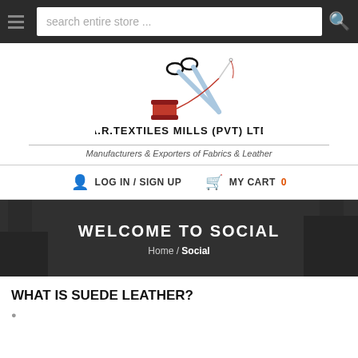search entire store ...
[Figure (logo): A.R. Textiles Mills (PVT) LTD logo with scissors and thread spool graphic. Tagline: Manufacturers & Exporters of Fabrics & Leather]
LOG IN / SIGN UP   MY CART 0
WELCOME TO SOCIAL
Home / Social
WHAT IS SUEDE LEATHER?